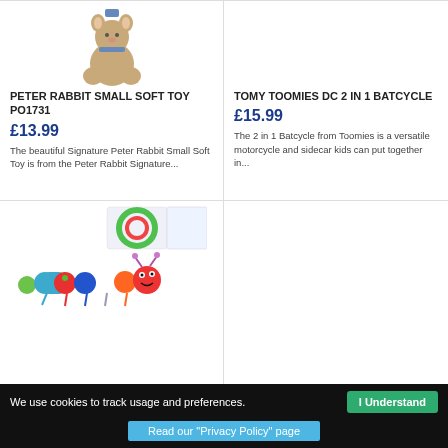[Figure (photo): Peter Rabbit small soft toy product image - brown teddy bear with blue outfit]
PETER RABBIT SMALL SOFT TOY PO1731
£13.99
The beautiful Signature Peter Rabbit Small Soft Toy is from the Peter Rabbit Signature...
[Figure (photo): Tomy Toomies DC 2 in 1 Batcycle product image - empty/blank]
TOMY TOOMIES DC 2 IN 1 BATCYCLE
£15.99
The 2 in 1 Batcycle from Toomies is a versatile motorcycle and sidecar kids can put together in...
[Figure (photo): Very Hungry Caterpillar soft toy with linked rings and colourful caterpillar plush]
We use cookies to track usage and preferences.
I Understand
Read our "Privacy Policy" page